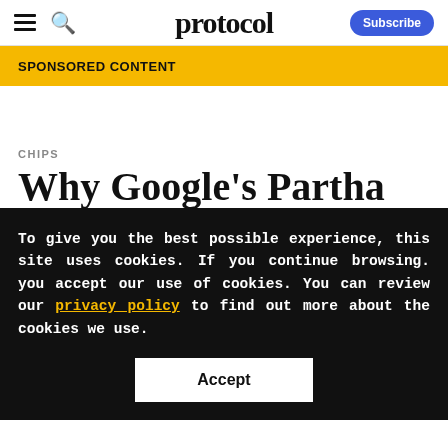protocol | Subscribe
SPONSORED CONTENT
CHIPS
Why Google's Partha
To give you the best possible experience, this site uses cookies. If you continue browsing, you accept our use of cookies. You can review our privacy policy to find out more about the cookies we use.
Accept